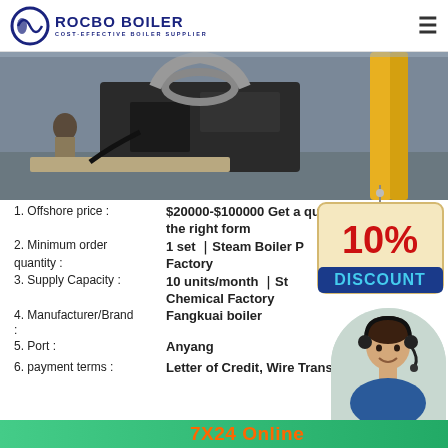ROCBO BOILER COST-EFFECTIVE BOILER SUPPLIER
[Figure (photo): Industrial boiler machinery with yellow pipes and dark mechanical components outdoors]
1. Offshore price : $20000-$100000 Get a quote on the right form
2. Minimum order quantity : 1 set │Steam Boiler P Factory
3. Supply Capacity : 10 units/month │St Chemical Factory
4. Manufacturer/Brand : Fangkuai boiler
5. Port : Anyang
[Figure (infographic): 10% DISCOUNT badge in red and blue]
[Figure (photo): Customer service representative with headset smiling]
6. payment terms : Letter of Credit, Wire Transfer,
7X24 Online